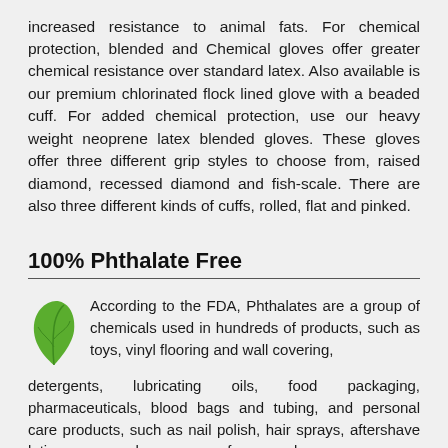increased resistance to animal fats. For chemical protection, blended and Chemical gloves offer greater chemical resistance over standard latex. Also available is our premium chlorinated flock lined glove with a beaded cuff. For added chemical protection, use our heavy weight neoprene latex blended gloves. These gloves offer three different grip styles to choose from, raised diamond, recessed diamond and fish-scale. There are also three different kinds of cuffs, rolled, flat and pinked.
100% Phthalate Free
According to the FDA, Phthalates are a group of chemicals used in hundreds of products, such as toys, vinyl flooring and wall covering, detergents, lubricating oils, food packaging, pharmaceuticals, blood bags and tubing, and personal care products, such as nail polish, hair sprays, aftershave lotions, soaps, shampoos, perfumes and